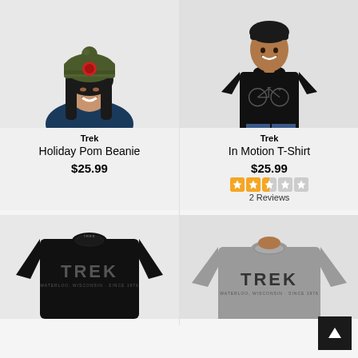[Figure (photo): Woman wearing olive green Trek Holiday Pom Beanie with red accents, smiling, wearing a dark navy long sleeve shirt]
Trek
Holiday Pom Beanie
$25.99
[Figure (photo): Man wearing black Trek In Motion T-Shirt with bicycle graphic, smiling]
Trek
In Motion T-Shirt
$25.99
2 Reviews (2.5 stars out of 5)
[Figure (photo): Black Trek t-shirt with large TREK logo and Waterloo Wisconsin text underneath]
[Figure (photo): Gray Trek t-shirt with large TREK logo and Waterloo Wisconsin text underneath]